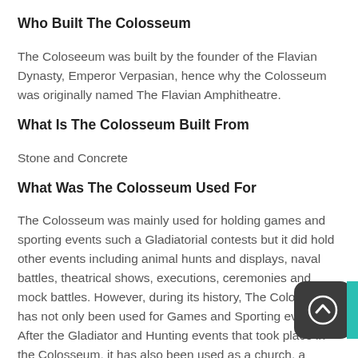Who Built The Colosseum
The Coloseeum was built by the founder of the Flavian Dynasty, Emperor Verpasian, hence why the Colosseum was originally named The Flavian Amphitheatre.
What Is The Colosseum Built From
Stone and Concrete
What Was The Colosseum Used For
The Colosseum was mainly used for holding games and sporting events such a Gladiatorial contests but it did hold other events including animal hunts and displays, naval battles, theatrical shows, executions, ceremonies and mock battles. However, during its history, The Colosseum has not only been used for Games and Sporting events. After the Gladiator and Hunting events that took place in the Colosseum, it has also been used as a church, a cemetery and even used as a fortress.